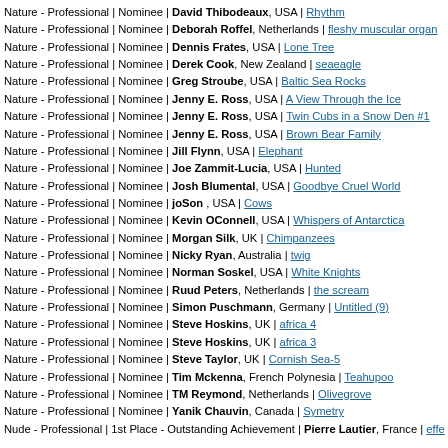Nature - Professional | Nominee | David Thibodeaux, USA | Rhythm
Nature - Professional | Nominee | Deborah Roffel, Netherlands | fleshy muscular organ
Nature - Professional | Nominee | Dennis Frates, USA | Lone Tree
Nature - Professional | Nominee | Derek Cook, New Zealand | seaeagle
Nature - Professional | Nominee | Greg Stroube, USA | Baltic Sea Rocks
Nature - Professional | Nominee | Jenny E. Ross, USA | A View Through the Ice
Nature - Professional | Nominee | Jenny E. Ross, USA | Twin Cubs in a Snow Den #1
Nature - Professional | Nominee | Jenny E. Ross, USA | Brown Bear Family
Nature - Professional | Nominee | Jill Flynn, USA | Elephant
Nature - Professional | Nominee | Joe Zammit-Lucia, USA | Hunted
Nature - Professional | Nominee | Josh Blumental, USA | Goodbye Cruel World
Nature - Professional | Nominee | joSon , USA | Cows
Nature - Professional | Nominee | Kevin OConnell, USA | Whispers of Antarctica
Nature - Professional | Nominee | Morgan Silk, UK | Chimpanzees
Nature - Professional | Nominee | Nicky Ryan, Australia | twig
Nature - Professional | Nominee | Norman Soskel, USA | White Knights
Nature - Professional | Nominee | Ruud Peters, Netherlands | the scream
Nature - Professional | Nominee | Simon Puschmann, Germany | Untitled (9)
Nature - Professional | Nominee | Steve Hoskins, UK | africa 4
Nature - Professional | Nominee | Steve Hoskins, UK | africa 3
Nature - Professional | Nominee | Steve Taylor, UK | Cornish Sea-5
Nature - Professional | Nominee | Tim Mckenna, French Polynesia | Teahupoo
Nature - Professional | Nominee | TM Reymond, Netherlands | Olivegrove
Nature - Professional | Nominee | Yanik Chauvin, Canada | Symetry
Nude - Professional | 1st Place - Outstanding Achievement | Pierre Lautier, France | effe